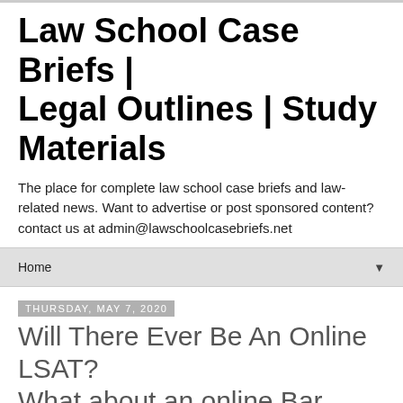Law School Case Briefs | Legal Outlines | Study Materials
The place for complete law school case briefs and law-related news. Want to advertise or post sponsored content? contact us at admin@lawschoolcasebriefs.net
Home ▼
Thursday, May 7, 2020
Will There Ever Be An Online LSAT? What about an online Bar Exam?
[Figure (photo): Image placeholder/thumbnail for the article]